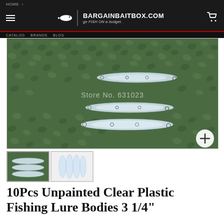HOME > ...
[Figure (photo): Three clear unpainted plastic fishing lures laid horizontally on a green leafy background. Watermark text reads 'Store No. 631023'. A plus button in bottom right corner.]
[Figure (photo): Thumbnail 1: Three clear fishing lures on green background (horizontal view)]
[Figure (photo): Thumbnail 2: Four clear fishing lures standing vertically on white background]
10Pcs Unpainted Clear Plastic Fishing Lure Bodies 3 1/4"